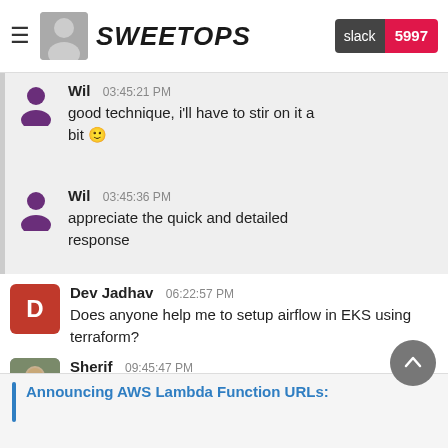SweetOps | slack 5997
Wil 03:45:21 PM
good technique, i'll have to stir on it a bit 🙂
Wil 03:45:36 PM
appreciate the quick and detailed response
Dev Jadhav 06:22:57 PM
Does anyone help me to setup airflow in EKS using terraform?
Sherif 09:45:47 PM
FINALLLLLY
https://aws.amazon.com/blogs/aws/announcing-aws-lambda-function-urls-built-in-https-endpoints-for-single-function-microservices/
Announcing AWS Lambda Function URLs: